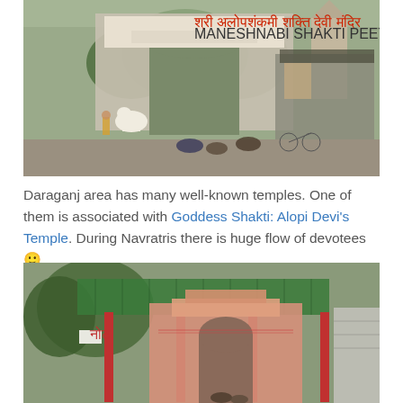[Figure (photo): Entrance gate of Alopi Devi Temple (Maneshnabi Shakti Peeth) in Daraganj area. A large concrete archway with Hindi and English text signage. White bull statues on either side of the gate. People sitting on the ground near the entrance, a bicycle visible, and market stalls on the right side. Trees visible through the gate, and temple spire in the background.]
Daraganj area has many well-known temples. One of them is associated with Goddess Shakti: Alopi Devi’s Temple. During Navratris there is huge flow of devotees 🙂
[Figure (photo): Exterior view of another temple in Daraganj area. A green shade canopy roof is visible in the foreground. Red pillars support the canopy. Behind it is a pink ornate temple facade with an arched entrance. Trees on the left side, shops on the right. People visible near the entrance.]